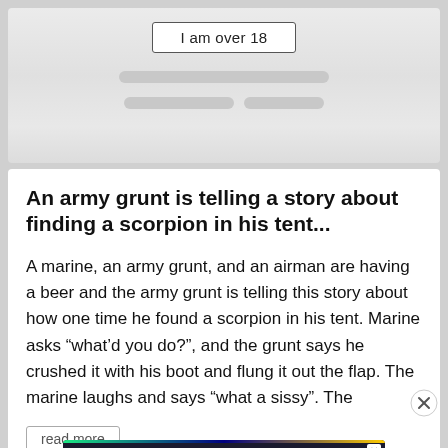[Figure (screenshot): Age verification blurred card with 'I am over 18' button and blurred content below]
An army grunt is telling a story about finding a scorpion in his tent...
A marine, an army grunt, and an airman are having a beer and the army grunt is telling this story about how one time he found a scorpion in his tent. Marine asks “what’d you do?”, and the grunt says he crushed it with his boot and flung it out the flap. The marine laughs and says “what a sissy”. The
read more
[Figure (screenshot): Disney Bundle advertisement banner showing hulu, Disney+, ESPN+ logos with GET THE DISNEY BUNDLE button]
What's the worst thing to feel during a